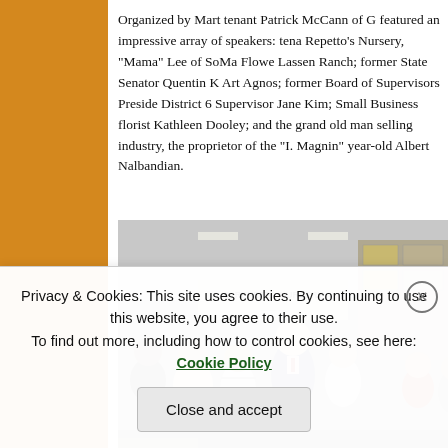Organized by Mart tenant Patrick McCann of G featured an impressive array of speakers: tena Repetto's Nursery, "Mama" Lee of SoMa Flowe Lassen Ranch; former State Senator Quentin K Art Agnos; former Board of Supervisors Preside District 6 Supervisor Jane Kim; Small Business florist Kathleen Dooley; and the grand old man selling industry, the proprietor of the "I. Magnin" year-old Albert Nalbandian.
[Figure (photo): Group of people gathered inside what appears to be a wholesale flower or nursery market, with the Repetto Nursery sign visible in the background. Several individuals of varied ages are posing together.]
Privacy & Cookies: This site uses cookies. By continuing to use this website, you agree to their use. To find out more, including how to control cookies, see here: Cookie Policy